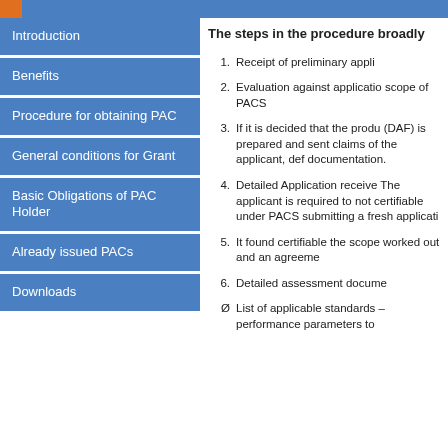Introduction
Benefits
Procedure for obtaining PAC
General conditions for Grant
Basic Obligations of PAC Holder
Already issued PACs
Downloads
The steps in the procedure broadly
Receipt of preliminary appli
Evaluation against application scope of PACS
If it is decided that the product (DAF) is prepared and sent claims of the applicant, def documentation.
Detailed Application receive The applicant is required to not certifiable under PACS submitting a fresh applicati
It found certifiable the scope worked out and an agreement
Detailed assessment document
List of applicable standards – performance parameters to